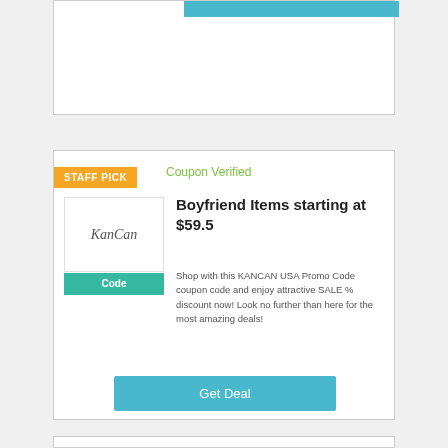[Figure (other): Top card with teal button strip at top]
STAFF PICK
Coupon Verified
[Figure (logo): KanCan cursive logo in white box]
Code
Boyfriend Items starting at $59.5
Shop with this KANCAN USA Promo Code coupon code and enjoy attractive SALE % discount now! Look no further than here for the most amazing deals!
Get Deal